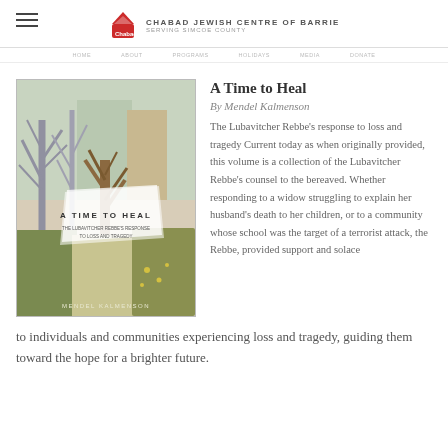Chabad Jewish Centre of Barrie | Serving Simcoe County
[Figure (photo): Book cover of 'A Time to Heal' by Mendel Kalmenson, showing painted trees in autumn against a light sky with green fields below]
A Time to Heal
By Mendel Kalmenson
The Lubavitcher Rebbe's response to loss and tragedy Current today as when originally provided, this volume is a collection of the Lubavitcher Rebbe's counsel to the bereaved. Whether responding to a widow struggling to explain her husband's death to her children, or to a community whose school was the target of a terrorist attack, the Rebbe, provided support and solace to individuals and communities experiencing loss and tragedy, guiding them toward the hope for a brighter future.